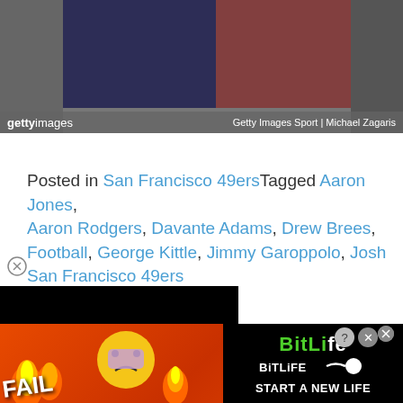[Figure (photo): Getty Images sports photo of NFL football players, with a Getty Images watermark bar at the bottom reading 'gettyimages' and 'Getty Images Sport | Michael Zagaris']
Posted in San Francisco 49ers Tagged Aaron Jones, Aaron Rodgers, Davante Adams, Drew Brees, Football, George Kittle, Jimmy Garoppolo, Josh ... San Francisco 49ers
[Figure (screenshot): Black video player overlay in lower left portion of page]
[Figure (advertisement): BitLife advertisement banner at bottom with orange/red background, FAIL text, emoji graphics, and 'START A NEW LIFE' text on black background]